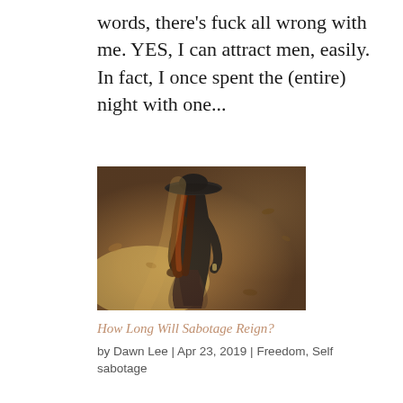words, there's fuck all wrong with me. YES, I can attract men, easily. In fact, I once spent the (entire) night with one...
[Figure (photo): Woman seen from behind wearing a black wide-brimmed hat and black dress, standing on a forest path with fallen leaves, warm golden light.]
How Long Will Sabotage Reign?
by Dawn Lee | Apr 23, 2019 | Freedom, Self sabotage